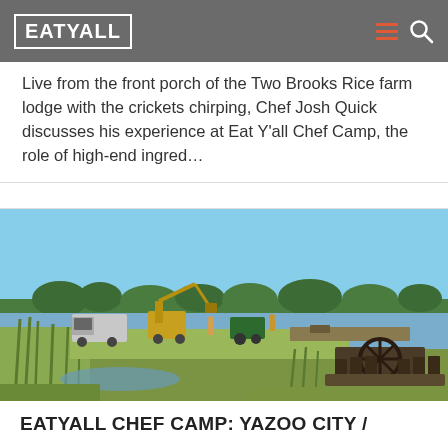EATYALL
Live from the front porch of the Two Brooks Rice farm lodge with the crickets chirping, Chef Josh Quick discusses his experience at Eat Y'all Chef Camp, the role of high-end ingred…
[Figure (photo): Outdoor farm scene showing heavy machinery including a truck and excavator working near a large pond or rice paddy. Green reeds line the bank in the foreground, with a paddlewheel or tillage equipment on the water. Trees visible in the background under a clear blue sky.]
EATYALL CHEF CAMP: YAZOO CITY /